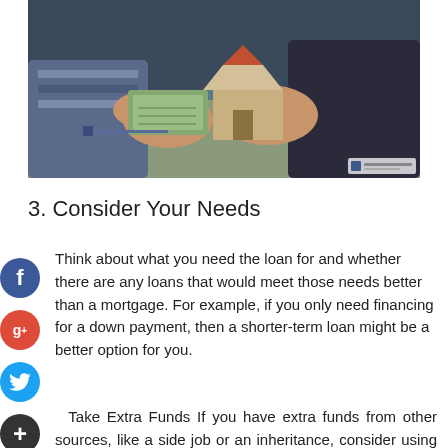[Figure (photo): Two people exchanging money and a small house model over a desk — a mortgage/real estate transaction scene]
3. Consider Your Needs
Think about what you need the loan for and whether there are any loans that would meet those needs better than a mortgage. For example, if you only need financing for a down payment, then a shorter-term loan might be a better option for you.
Take Extra Funds If you have extra funds from other sources, like a side job or an inheritance, consider using that money to pay down your mortgage faster. This can help you build equity and